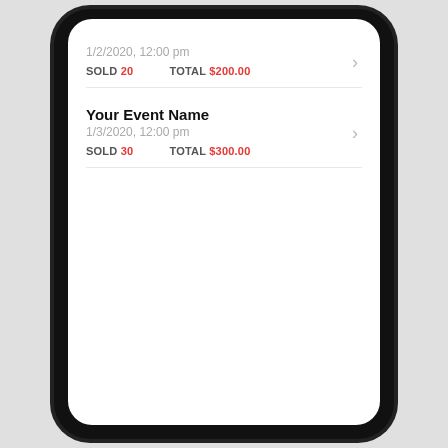[Figure (screenshot): Mobile app screenshot showing a list of events with sold counts and totals. First visible item: date 1/2/2020 12:00 pm, SOLD 20, TOTAL $200.00. Second item: Your Event Name, 1/3/2020 12:00 pm, SOLD 30, TOTAL $300.00.]